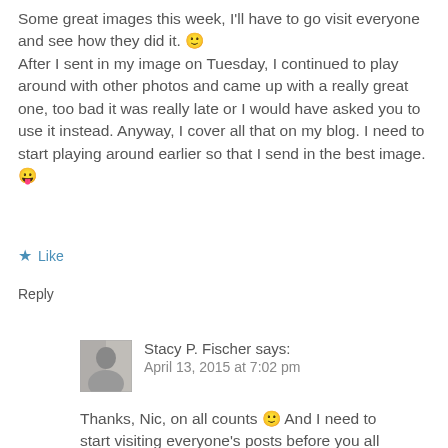Some great images this week, I'll have to go visit everyone and see how they did it. 🙂 After I sent in my image on Tuesday, I continued to play around with other photos and came up with a really great one, too bad it was really late or I would have asked you to use it instead. Anyway, I cover all that on my blog. I need to start playing around earlier so that I send in the best image. 😛
★ Like
Reply
Stacy P. Fischer says:
April 13, 2015 at 7:02 pm
Thanks, Nic, on all counts 🙂 And I need to start visiting everyone's posts before you all